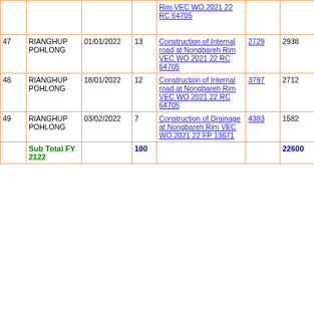| # | Name | Date | Days | Work | ID | Amount | Last |
| --- | --- | --- | --- | --- | --- | --- | --- |
|  |  |  |  | Rim VEC WO 2021 22 RC 64705 |  |  |  |
| 47 | RIANGHUP POHLONG | 01/01/2022 | 13 | Construction of Internal road at Nongbareh Rim VEC WO 2021 22 RC 64705 | 2729 | 2938 | 0 |
| 48 | RIANGHUP POHLONG | 18/01/2022 | 12 | Construction of Internal road at Nongbareh Rim VEC WO 2021 22 RC 64705 | 3797 | 2712 | 0 |
| 49 | RIANGHUP POHLONG | 03/02/2022 | 7 | Construction of Drainage at Nongbareh Rim VEC WO 2021 22 FP 13671 | 4383 | 1582 | 0 |
|  | Sub Total FY 2122 |  | 100 |  |  | 22600 | 0 |